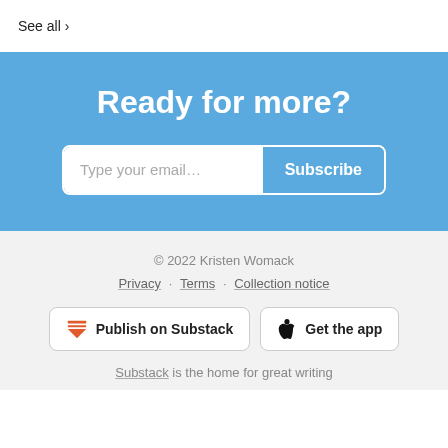See all >
Ready for more?
Type your email... Subscribe
© 2022 Kristen Womack
Privacy · Terms · Collection notice
Publish on Substack
Get the app
Substack is the home for great writing